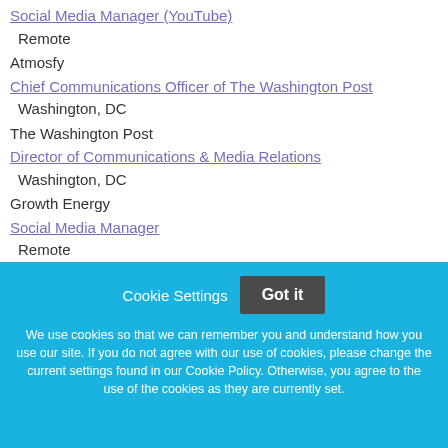Social Media Manager (YouTube)
Remote
Atmosfy
Chief Communications Officer of The Washington Post
Washington, DC
The Washington Post
Director of Communications & Media Relations
Washington, DC
Growth Energy
Social Media Manager
Remote
Cookie Settings  Got it

We use cookies so that we can remember you and understand how you use our site. If you do not agree with our use of cookies, please change the current settings found in our Cookie Policy. Otherwise, you agree to the use of the cookies as they are currently set.